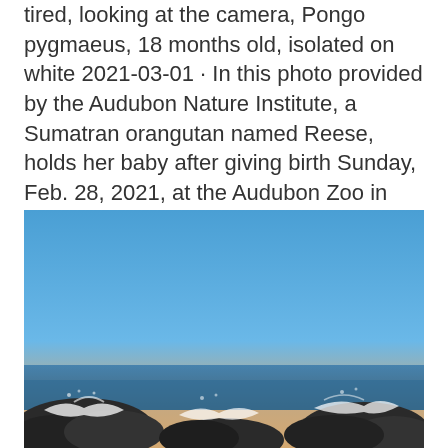tired, looking at the camera, Pongo pygmaeus, 18 months old, isolated on white 2021-03-01 · In this photo provided by the Audubon Nature Institute, a Sumatran orangutan named Reese, holds her baby after giving birth Sunday, Feb. 28, 2021, at the Audubon Zoo in New Orleans.
[Figure (photo): A beach/coastal scene at sunset or dusk showing a clear blue sky transitioning to warm pinkish-orange tones near the horizon, with dark rocky outcroppings and waves crashing against them in the foreground.]